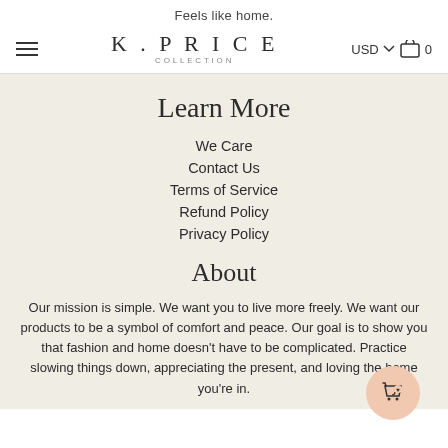Feels like home.
[Figure (logo): K. PRICE COLLECTION brand logo with hamburger menu, USD currency selector, and cart icon showing 0 items]
Learn More
We Care
Contact Us
Terms of Service
Refund Policy
Privacy Policy
About
Our mission is simple. We want you to live more freely. We want our products to be a symbol of comfort and peace. Our goal is to show you that fashion and home doesn't have to be complicated. Practice slowing things down, appreciating the present, and loving the home you're in.